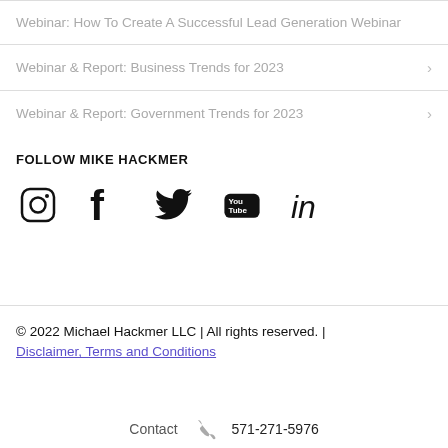Webinar: How To Create A Successful Lead Generation Webinar
Webinar & Report: Business Trends for 2023
Webinar & Report: Government Trends for 2023
FOLLOW MIKE HACKMER
[Figure (other): Social media icons: Instagram, Facebook, Twitter, YouTube, LinkedIn]
© 2022 Michael Hackmer LLC | All rights reserved. | Disclaimer, Terms and Conditions
Contact  571-271-5976